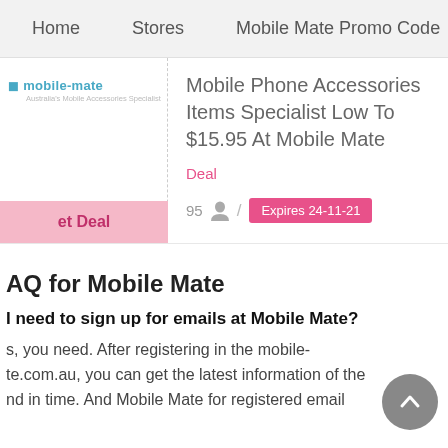Home   Stores   Mobile Mate Promo Code
Mobile Phone Accessories Items Specialist Low To $15.95 At Mobile Mate
Deal
95 / Expires 24-11-21
AQ for Mobile Mate
I need to sign up for emails at Mobile Mate?
s, you need. After registering in the mobile-te.com.au, you can get the latest information of the nd in time. And Mobile Mate for registered email